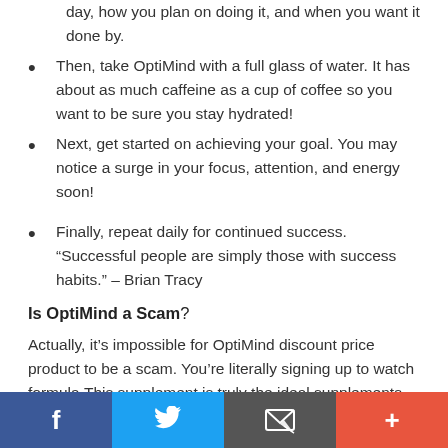day, how you plan on doing it, and when you want it done by.
Then, take OptiMind with a full glass of water. It has about as much caffeine as a cup of coffee so you want to be sure you stay hydrated!
Next, get started on achieving your goal. You may notice a surge in your focus, attention, and energy soon!
Finally, repeat daily for continued success. “Successful people are simply those with success habits.” – Brian Tracy
Is OptiMind a Scam?
Actually, it’s impossible for OptiMind discount price product to be a scam. You’re literally signing up to watch formula.This supplement is truly the ideal supplements for you.The best ingredients in the world for mental
Facebook | Twitter | Email | Plus